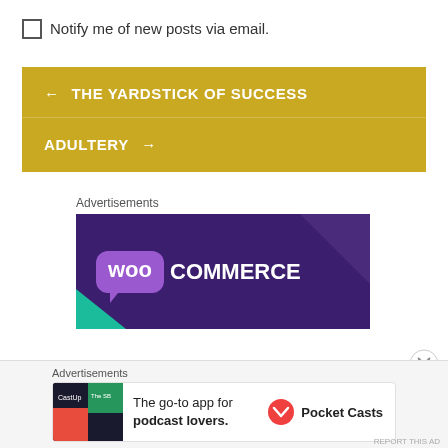Notify me of new posts via email.
← THE YARDSTICK OF SUCCESS
ADULTERY →
Advertisements
[Figure (logo): WooCommerce logo banner on dark purple background with teal accent]
Advertisements
[Figure (screenshot): Pocket Casts advertisement: The go-to app for podcast lovers.]